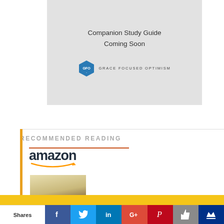[Figure (logo): GFO (Grace Focused Optimism) companion study guide box with hexagon logo on grey background]
RECOMMENDED READING
[Figure (logo): Amazon logo with orange arrow underline]
[Figure (photo): Book cover: The History of Providence]
Subscribe Today for a FREE Bible Study!
Subscribe
Shares